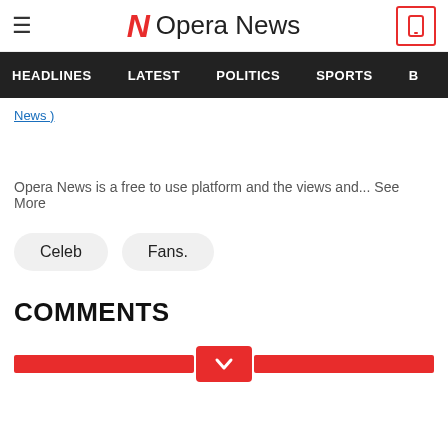Opera News
HEADLINES  LATEST  POLITICS  SPORTS  B
News )
Opera News is a free to use platform and the views and... See More
Celeb
Fans.
COMMENTS